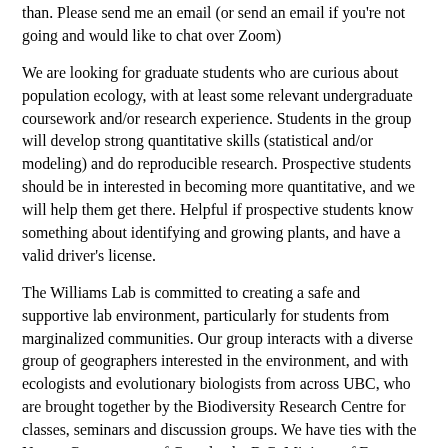than. Please send me an email (or send an email if you're not going and would like to chat over Zoom)
We are looking for graduate students who are curious about population ecology, with at least some relevant undergraduate coursework and/or research experience. Students in the group will develop strong quantitative skills (statistical and/or modeling) and do reproducible research. Prospective students should be in interested in becoming more quantitative, and we will help them get there. Helpful if prospective students know something about identifying and growing plants, and have a valid driver's license.
The Williams Lab is committed to creating a safe and supportive lab environment, particularly for students from marginalized communities. Our group interacts with a diverse group of geographers interested in the environment, and with ecologists and evolutionary biologists from across UBC, who are brought together by the Biodiversity Research Centre for classes, seminars and discussion groups. We have ties with the Nature Conservancy of Canada, the B.C. Ministry of Forests, Lands and Natural Resource Operations, Metro Vancouver, and land managers at native prairie sites across the Pacific Northwest.
Applications for MSc students are due in early December 2022 and for Ph.D. students in early January 2023, for a May or September 2023 start date. Curious if you might fit into the group? Send an